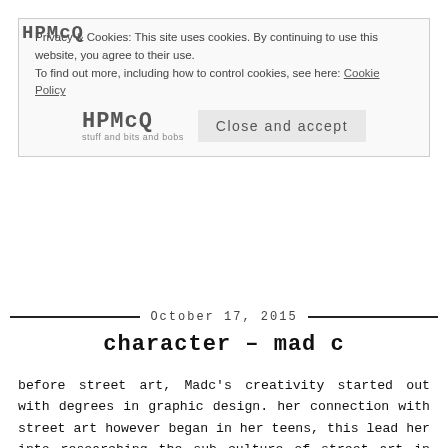HPMcQ
Privacy & Cookies: This site uses cookies. By continuing to use this website, you agree to their use.
To find out more, including how to control cookies, see here: Cookie Policy
[Figure (logo): HPMcQ logo with tagline 'stuff and bits and bobs' and a 'Close and accept' button]
October 17, 2015
character - mad c
before street art, Madc's creativity started out with degrees in graphic design. her connection with street art however began in her teens, this lead her into researching the sub culture of street art in her twenties and publishing two books on the subject. the first book, sticker city – paper graffiti art was published in 2007. in this book she explores the path and evolution of hand-painted and hand-crafted posters and